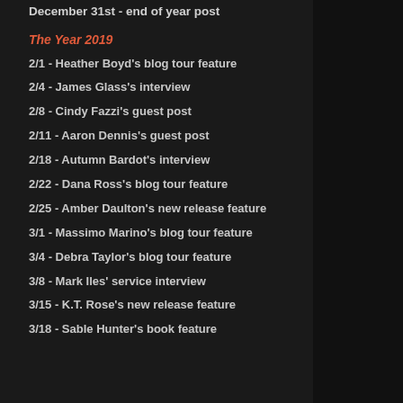December 31st - end of year post
The Year 2019
2/1 - Heather Boyd's blog tour feature
2/4 - James Glass's interview
2/8 - Cindy Fazzi's guest post
2/11 - Aaron Dennis's guest post
2/18 - Autumn Bardot's interview
2/22 - Dana Ross's blog tour feature
2/25 - Amber Daulton's new release feature
3/1 - Massimo Marino's blog tour feature
3/4 - Debra Taylor's blog tour feature
3/8 - Mark Iles' service interview
3/15 - K.T. Rose's new release feature
3/18 - Sable Hunter's book feature